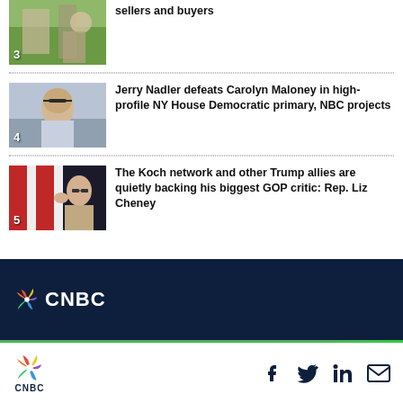[Figure (photo): News item 3 thumbnail - outdoor campus scene with people]
sellers and buyers
[Figure (photo): News item 4 thumbnail - Jerry Nadler with glasses outdoors]
Jerry Nadler defeats Carolyn Maloney in high-profile NY House Democratic primary, NBC projects
[Figure (photo): News item 5 thumbnail - Liz Cheney waving with American flags]
The Koch network and other Trump allies are quietly backing his biggest GOP critic: Rep. Liz Cheney
[Figure (logo): CNBC logo in dark footer]
[Figure (logo): CNBC logo small in bottom footer with social icons]